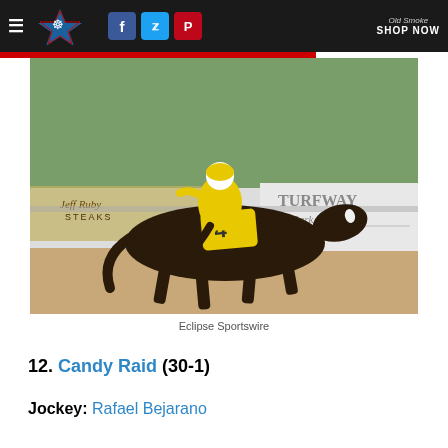Navigation bar with logo, social icons (Facebook, Twitter, Pinterest), and Shop Now link
[Figure (photo): A dark bay horse wearing number 4 saddlecloth racing at Turfway Park with a jockey in yellow silks. Background shows Turfway Park Racing & Gaming signage and Jeff Ruby Steaks signage.]
Eclipse Sportswire
12. Candy Raid (30-1)
Jockey: Rafael Bejarano